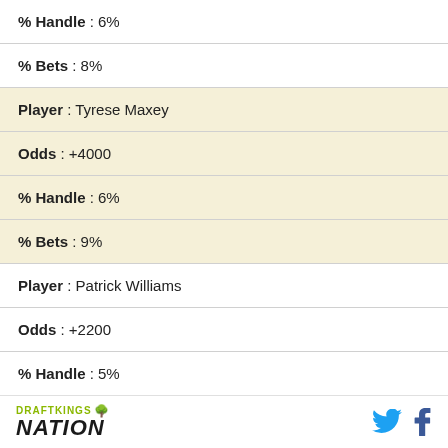| % Handle | 6% |
| % Bets | 8% |
| Player | Tyrese Maxey |
| Odds | +4000 |
| % Handle | 6% |
| % Bets | 9% |
| Player | Patrick Williams |
| Odds | +2200 |
| % Handle | 5% |
| % Bets | 8% |
DRAFTKINGS NATION